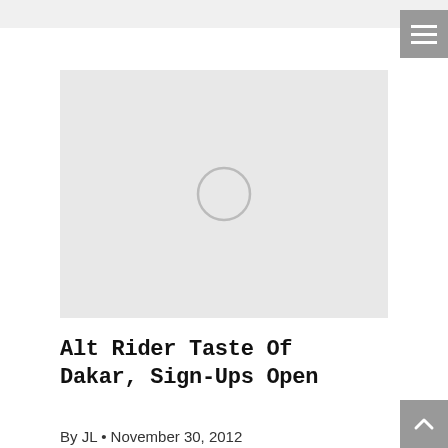[Figure (photo): Image placeholder with a loading circle indicator on a light gray background]
Alt Rider Taste Of Dakar, Sign-Ups Open
By JL · November 30, 2012